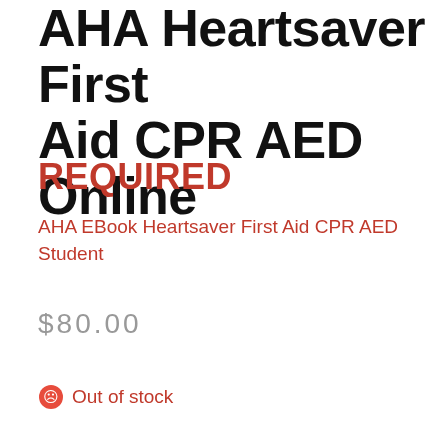AHA Heartsaver First Aid CPR AED Online
REQUIRED
AHA EBook Heartsaver First Aid CPR AED Student
$80.00
Out of stock